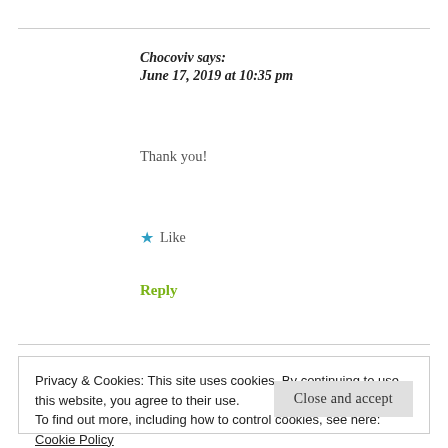Chocoviv says:
June 17, 2019 at 10:35 pm
Thank you!
★ Like
Reply
Privacy & Cookies: This site uses cookies. By continuing to use this website, you agree to their use.
To find out more, including how to control cookies, see here: Cookie Policy
Close and accept